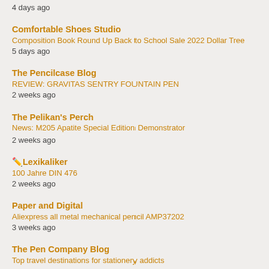4 days ago
Comfortable Shoes Studio
Composition Book Round Up Back to School Sale 2022 Dollar Tree
5 days ago
The Pencilcase Blog
REVIEW: GRAVITAS SENTRY FOUNTAIN PEN
2 weeks ago
The Pelikan's Perch
News: M205 Apatite Special Edition Demonstrator
2 weeks ago
✏️Lexikaliker
100 Jahre DIN 476
2 weeks ago
Paper and Digital
Aliexpress all metal mechanical pencil AMP37202
3 weeks ago
The Pen Company Blog
Top travel destinations for stationery addicts